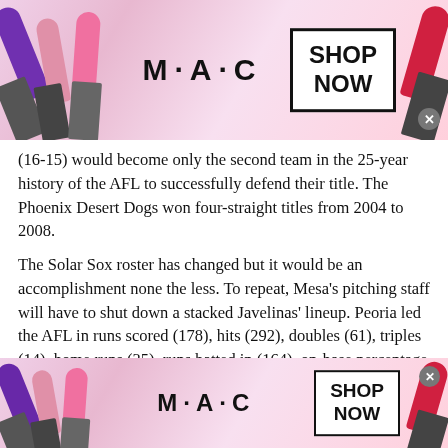[Figure (photo): MAC cosmetics advertisement banner at top with lipsticks and SHOP NOW button]
(16-15) would become only the second team in the 25-year history of the AFL to successfully defend their title. The Phoenix Desert Dogs won four-straight titles from 2004 to 2008.
The Solar Sox roster has changed but it would be an accomplishment none the less. To repeat, Mesa’s pitching staff will have to shut down a stacked Javelinas’ lineup. Peoria led the AFL in runs scored (178), hits (292), doubles (61), triples (14), home runs (35), runs batted in (164), on-base percentage (.348) batting average (.281) and OPS (.816).
Mesa’s pitching staff finished third in ERA (4.28) but only the Surprise Saguaros (293) gave more hits than the Solar Sox (292) and Mesa surrendered the most home runs (32). Mesa did strike out the most batters of any team with 285 but Peoria only struck
[Figure (photo): MAC cosmetics advertisement banner at bottom with lipsticks and SHOP NOW button]